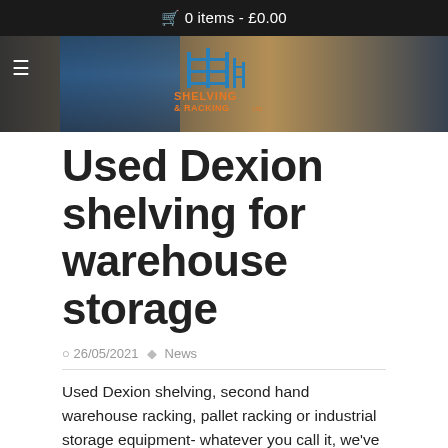0 items - £0.00
[Figure (logo): Shelving & Racking Ltd logo with stylized warehouse shelving icon in blue and orange]
Used Dexion shelving for warehouse storage
26/05/2021  News
Used Dexion shelving, second hand warehouse racking, pallet racking or industrial storage equipment- whatever you call it, we've got it, it's great quality and we're ready to sell it to you at the best price. We have thousands of bays in stock, in a wide variety of sizes and duties and from all leading manufacturers.
Whether you need a few pallet racking bays to replace